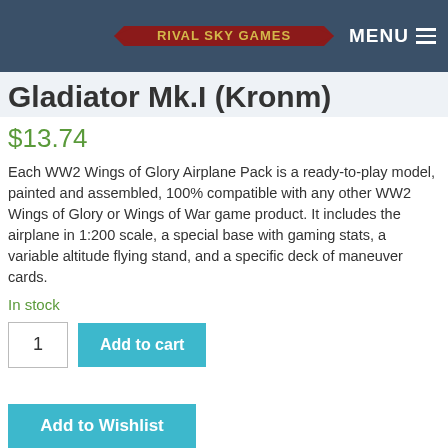Rival Sky Games | MENU
Gladiator Mk.I (Kron)
$13.74
Each WW2 Wings of Glory Airplane Pack is a ready-to-play model, painted and assembled, 100% compatible with any other WW2 Wings of Glory or Wings of War game product. It includes the airplane in 1:200 scale, a special base with gaming stats, a variable altitude flying stand, and a specific deck of maneuver cards.
In stock
1  Add to cart
Add to Wishlist